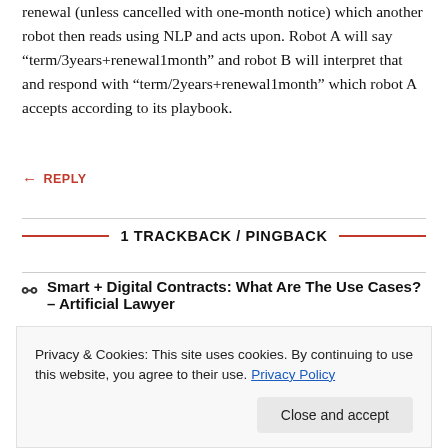renewal (unless cancelled with one-month notice) which another robot then reads using NLP and acts upon. Robot A will say “term/3years+renewal1month” and robot B will interpret that and respond with “term/2years+renewal1month” which robot A accepts according to its playbook.
← REPLY
1 TRACKBACK / PINGBACK
Smart + Digital Contracts: What Are The Use Cases? – Artificial Lawyer
Leave a Reply
Privacy & Cookies: This site uses cookies. By continuing to use this website, you agree to their use. Privacy Policy
Close and accept